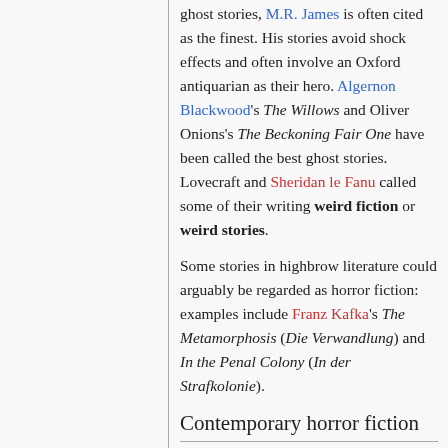ghost stories, M.R. James is often cited as the finest. His stories avoid shock effects and often involve an Oxford antiquarian as their hero. Algernon Blackwood's The Willows and Oliver Onions's The Beckoning Fair One have been called the best ghost stories. Lovecraft and Sheridan le Fanu called some of their writing weird fiction or weird stories.
Some stories in highbrow literature could arguably be regarded as horror fiction: examples include Franz Kafka's The Metamorphosis (Die Verwandlung) and In the Penal Colony (In der Strafkolonie).
Contemporary horror fiction
Modern practitioners of the genre have often resorted to progressively greater extremes of violence, far exceeding...